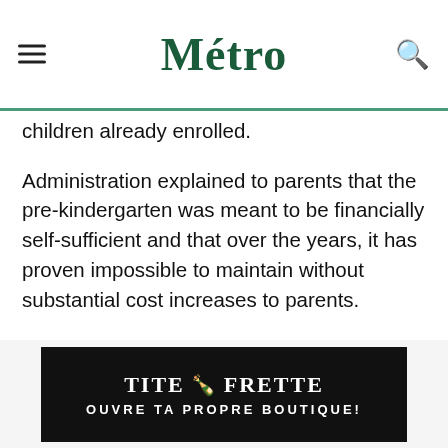Métro
children already enrolled.
Administration explained to parents that the pre-kindergarten was meant to be financially self-sufficient and that over the years, it has proven impossible to maintain without substantial cost increases to parents.
Administration could not be reached by deadline.
Moving out
[Figure (other): Advertisement for Tite Frette: black banner with white text reading 'TITE FRETTE' and 'OUVRE TA PROPRE BOUTIQUE!']